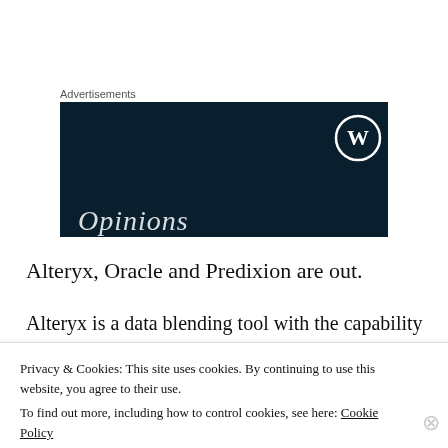Advertisements
[Figure (screenshot): Dark navy advertisement banner with WordPress logo circle icon in upper right and italic 'Opinions' text partially visible at bottom left]
Alteryx, Oracle and Predixion are out.
Alteryx is a data blending tool with the capability to run R scripts. It doesn't have a native machine learning
Privacy & Cookies: This site uses cookies. By continuing to use this website, you agree to their use.
To find out more, including how to control cookies, see here: Cookie Policy
Close and accept